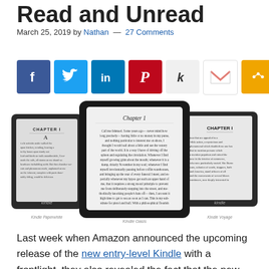Read and Unread
March 25, 2019 by Nathan — 27 Comments
[Figure (infographic): Row of seven social sharing buttons: Facebook (blue, f), Twitter (light blue, bird), LinkedIn (blue, in), Pinterest (red, P), Kinit (gray, k), Gmail (white, M), More (orange, share icon)]
[Figure (photo): Three Kindle e-readers displayed: Kindle Paperwhite on left, Kindle Oasis in center foreground showing Chapter 1 text, Kindle Voyage on right. Each device shows a book open to Chapter 1.]
Last week when Amazon announced the upcoming release of the new entry-level Kindle with a frontlight, they also revealed the fact that the new Kindle will have